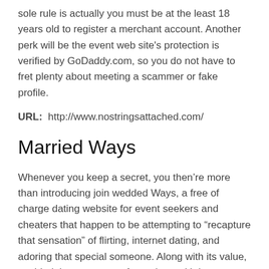sole rule is actually you must be at the least 18 years old to register a merchant account. Another perk will be the event web site's protection is verified by GoDaddy.com, so you do not have to fret plenty about meeting a scammer or fake profile.
URL:  http://www.nostringsattached.com/
Married Ways
Whenever you keep a secret, you then’re more than introducing join wedded Ways, a free of charge dating website for event seekers and cheaters that happen to be attempting to “recapture that sensation” of flirting, internet dating, and adoring that special someone. Along with its value, wedded tips goes apart from along with its confidentiality functions, including password-protected pictures, discreet text, sound, and video chat, and a comprehensive look section locate suitable matches in